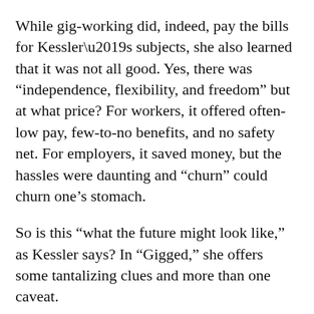While gig-working did, indeed, pay the bills for Kessler’s subjects, she also learned that it was not all good. Yes, there was “independence, flexibility, and freedom” but at what price? For workers, it offered often-low pay, few-to-no benefits, and no safety net. For employers, it saved money, but the hassles were daunting and “churn” could churn one’s stomach.
So is this “what the future might look like,” as Kessler says? In “Gigged,” she offers some tantalizing clues and more than one caveat.
For anyone who’s stuffed envelopes for pennies, or wondered if there’s real cash to be made gigging, this book sets it straight: Kessler’s subjects made money but it was hard, hard work and none of them are still …